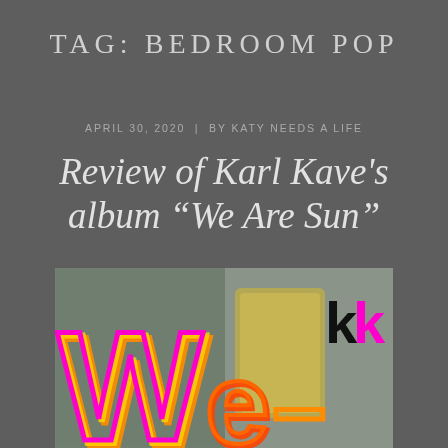TAG: BEDROOM POP
APRIL 30, 2020  |  BY KATY NEEDS A LIFE
Review of Karl Kave's album “We Are Sun”
[Figure (photo): Album cover or promotional image for Karl Kave's 'We Are Sun' album, showing colorful neon-style lettering 'We' in pink/orange/yellow with 'kk' logo on the right, over a blurred background with Lego-like elements.]